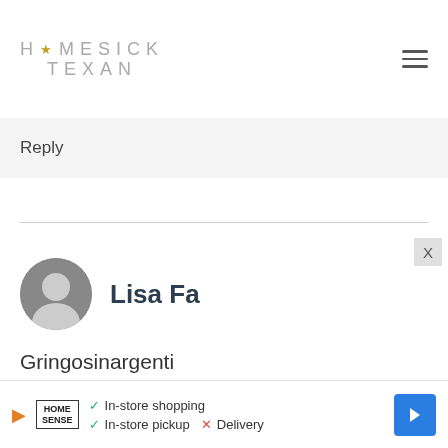HOMESICK TEXAN
Reply
Lisa Fa
Gringosinargenti to follow what my about six months should be, though everyone's different. Best
[Figure (screenshot): Ad banner: Home Sense store ad with in-store shopping, in-store pickup checkmarks and Delivery cross mark, with navigation arrow icon]